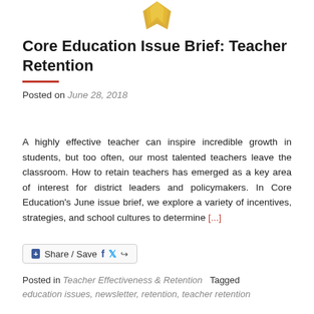[Figure (illustration): Gold/yellow pencil or bookmark icon at the top center of the page]
Core Education Issue Brief: Teacher Retention
Posted on June 28, 2018
A highly effective teacher can inspire incredible growth in students, but too often, our most talented teachers leave the classroom. How to retain teachers has emerged as a key area of interest for district leaders and policymakers. In Core Education’s June issue brief, we explore a variety of incentives, strategies, and school cultures to determine [...]
[Figure (other): Share / Save button with Facebook, Twitter, and share icons]
Posted in Teacher Effectiveness & Retention   Tagged education issues, newsletter, retention, teacher retention